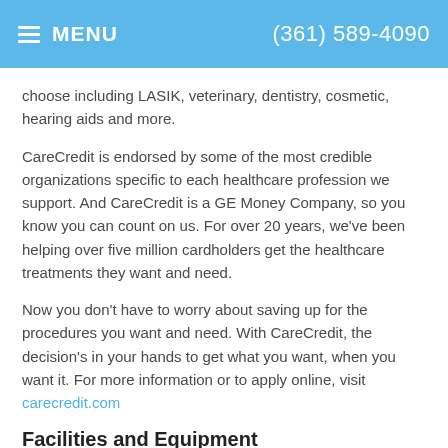MENU  (361) 589-4090
choose including LASIK, veterinary, dentistry, cosmetic, hearing aids and more.
CareCredit is endorsed by some of the most credible organizations specific to each healthcare profession we support. And CareCredit is a GE Money Company, so you know you can count on us. For over 20 years, we've been helping over five million cardholders get the healthcare treatments they want and need.
Now you don't have to worry about saving up for the procedures you want and need. With CareCredit, the decision's in your hands to get what you want, when you want it. For more information or to apply online, visit carecredit.com
Facilities and Equipment